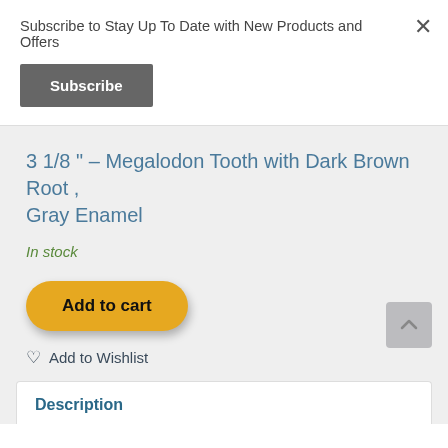Subscribe to Stay Up To Date with New Products and Offers
×
Subscribe
3 1/8 " – Megalodon Tooth with Dark Brown Root , Gray Enamel
In stock
Add to cart
Add to Wishlist
Description